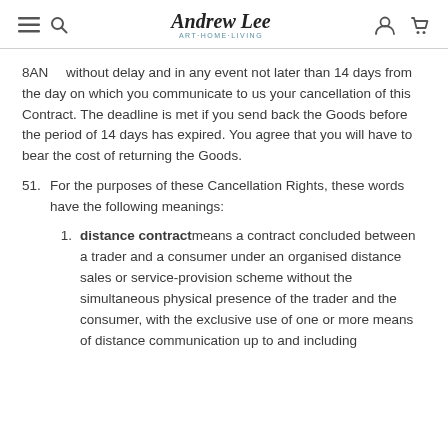Andrew Lee ART·HOME·LIVING
8AN    without delay and in any event not later than 14 days from the day on which you communicate to us your cancellation of this Contract. The deadline is met if you send back the Goods before the period of 14 days has expired. You agree that you will have to bear the cost of returning the Goods.
51. For the purposes of these Cancellation Rights, these words have the following meanings:
1. distance contract means a contract concluded between a trader and a consumer under an organised distance sales or service-provision scheme without the simultaneous physical presence of the trader and the consumer, with the exclusive use of one or more means of distance communication up to and including the moment at which the contract is concluded;